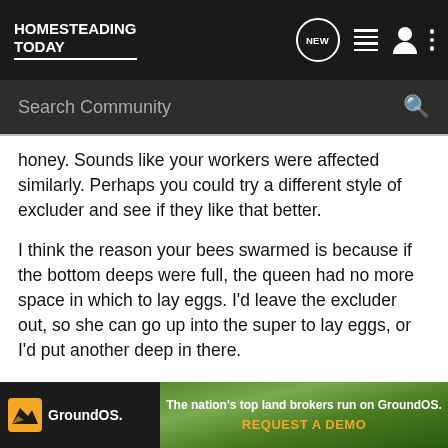HOMESTEADING TODAY
Search Community
honey. Sounds like your workers were affected similarly. Perhaps you could try a different style of excluder and see if they like that better.
I think the reason your bees swarmed is because if the bottom deeps were full, the queen had no more space in which to lay eggs. I'd leave the excluder out, so she can go up into the super to lay eggs, or I'd put another deep in there.
I've read/heard about hives that died out because they filled their space with honey, and the queen didn't have enough space to lay adequate eggs to keep the hive going. Do you remember if your deeps are full of honey, or a good mix of brood, h
[Figure (infographic): GroundOS advertisement banner: 'The nation's top land brokers run on GroundOS. REQUEST A DEMO']